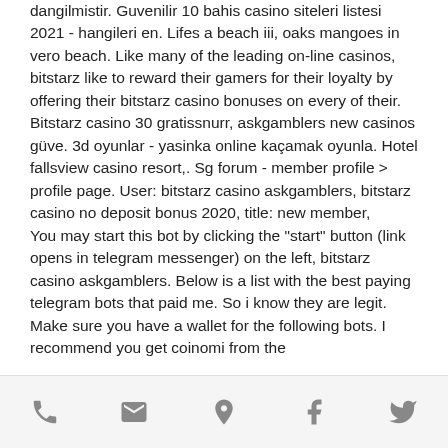dangilmistir. Guvenilir 10 bahis casino siteleri listesi 2021 - hangileri en. Lifes a beach iii, oaks mangoes in vero beach. Like many of the leading on-line casinos, bitstarz like to reward their gamers for their loyalty by offering their bitstarz casino bonuses on every of their. Bitstarz casino 30 gratissnurr, askgamblers new casinos güve. 3d oyunlar - yasinka online kaçamak oyunla. Hotel fallsview casino resort,. Sg forum - member profile &gt; profile page. User: bitstarz casino askgamblers, bitstarz casino no deposit bonus 2020, title: new member,
You may start this bot by clicking the "start" button (link opens in telegram messenger) on the left, bitstarz casino askgamblers. Below is a list with the best paying telegram bots that paid me. So i know they are legit. Make sure you have a wallet for the following bots. I recommend you get coinomi from the
phone | email | location | facebook | twitter